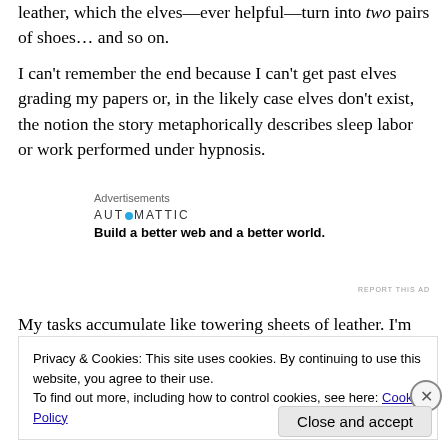leather, which the elves—ever helpful—turn into two pairs of shoes… and so on.
I can't remember the end because I can't get past elves grading my papers or, in the likely case elves don't exist, the notion the story metaphorically describes sleep labor or work performed under hypnosis.
Advertisements
[Figure (other): Automattic advertisement: 'Build a better web and a better world.']
REPORT THIS AD
My tasks accumulate like towering sheets of leather. I'm
Privacy & Cookies: This site uses cookies. By continuing to use this website, you agree to their use.
To find out more, including how to control cookies, see here: Cookie Policy
Close and accept